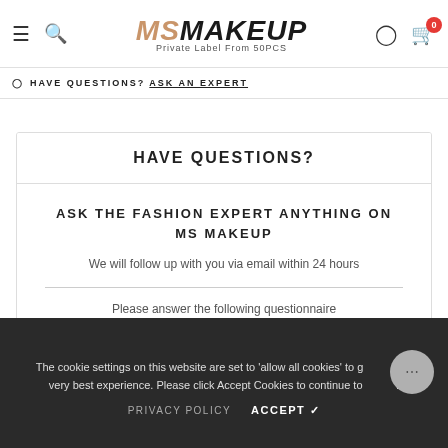MS MAKEUP - Private Label From 50PCS
HAVE QUESTIONS? ASK AN EXPERT
HAVE QUESTIONS?
ASK THE FASHION EXPERT ANYTHING ON MS MAKEUP
We will follow up with you via email within 24 hours
Please answer the following questionnaire
The cookie settings on this website are set to 'allow all cookies' to give you the very best experience. Please click Accept Cookies to continue to use the site.
PRIVACY POLICY   ACCEPT ✓